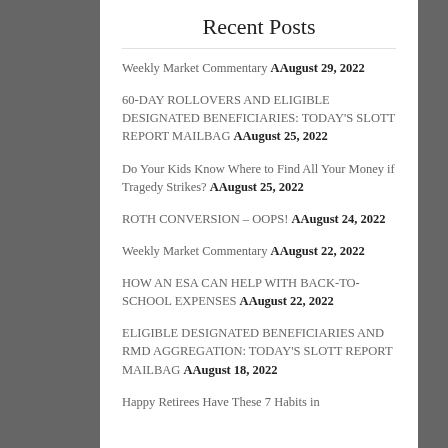Recent Posts
Weekly Market Commentary AAugust 29, 2022
60-DAY ROLLOVERS AND ELIGIBLE DESIGNATED BENEFICIARIES: TODAY'S SLOTT REPORT MAILBAG AAugust 25, 2022
Do Your Kids Know Where to Find All Your Money if Tragedy Strikes? AAugust 25, 2022
ROTH CONVERSION – OOPS! AAugust 24, 2022
Weekly Market Commentary AAugust 22, 2022
HOW AN ESA CAN HELP WITH BACK-TO-SCHOOL EXPENSES AAugust 22, 2022
ELIGIBLE DESIGNATED BENEFICIARIES AND RMD AGGREGATION: TODAY'S SLOTT REPORT MAILBAG AAugust 18, 2022
Happy Retirees Have These 7 Habits in